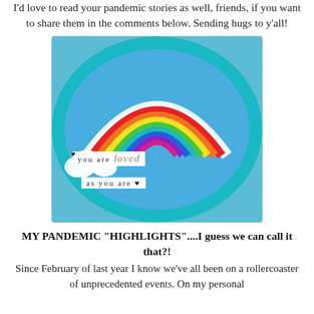I'd love to read your pandemic stories as well, friends, if you want to share them in the comments below. Sending hugs to y'all!
[Figure (photo): A circular embroidery hoop with teal glitter border containing a cross-stitch rainbow design on blue fabric. Text strips read 'you are loved as you are' with glitter lettering for 'loved'.]
MY PANDEMIC "HIGHLIGHTS"....I guess we can call it that?!
Since February of last year I know we've all been on a rollercoaster of unprecedented events. On my personal